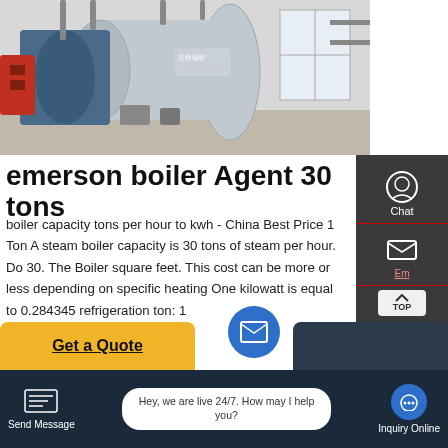[Figure (photo): Industrial boiler system — large cylindrical steam boiler in a factory/plant room, with blue casing, red burner components, pipes and fittings visible, Chinese manufacturer logo on boiler]
emerson boiler Agent 30 tons
boiler capacity tons per hour to kwh - China Best Price 1 Ton A steam boiler capacity is 30 tons of steam per hour. Do 30. The Boiler square feet. This cost can be more or less depending on specific heating One kilowatt is equal to 0.284345 refrigeration ton: 1
[Figure (screenshot): Website sidebar with chat, email, and contact icons on dark grey background]
[Figure (screenshot): Bottom navigation bar with Send Message, live chat bubble saying 'Hey, we are live 24/7. How may I help you?', and Inquiry Online button]
Get a Quote
Hey, we are live 24/7. How may I help you?
Send Message
Inquiry Online